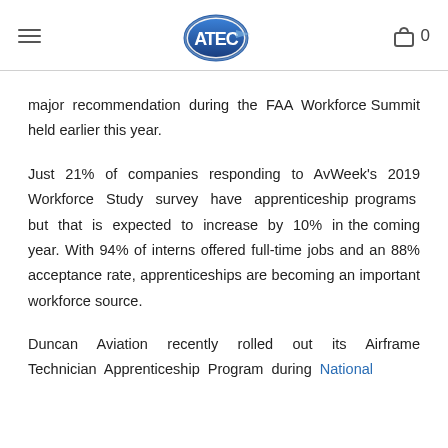ATEC logo, hamburger menu, cart icon with count 0
major recommendation during the FAA Workforce Summit held earlier this year.
Just 21% of companies responding to AvWeek's 2019 Workforce Study survey have apprenticeship programs but that is expected to increase by 10% in the coming year. With 94% of interns offered full-time jobs and an 88% acceptance rate, apprenticeships are becoming an important workforce source.
Duncan Aviation recently rolled out its Airframe Technician Apprenticeship Program during National